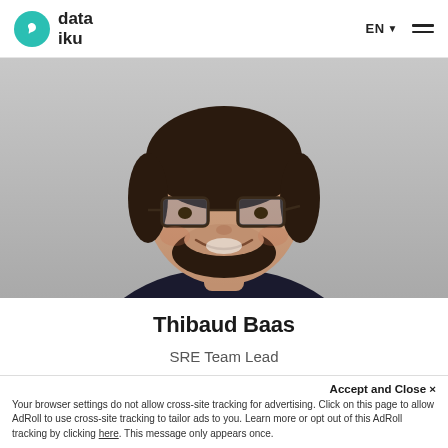dataiku | EN ☰
[Figure (photo): Headshot photo of Thibaud Baas, a man with glasses and a beard wearing a dark hoodie, smiling, against a light grey background]
Thibaud Baas
SRE Team Lead
Accept and Close ×
Your browser settings do not allow cross-site tracking for advertising. Click on this page to allow AdRoll to use cross-site tracking to tailor ads to you. Learn more or opt out of this AdRoll tracking by clicking here. This message only appears once.